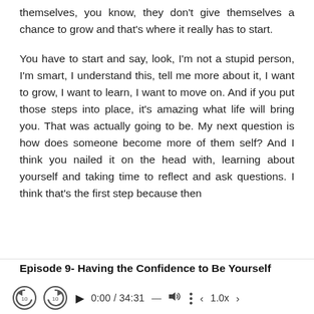themselves, you know, they don't give themselves a chance to grow and that's where it really has to start.
You have to start and say, look, I'm not a stupid person, I'm smart, I understand this, tell me more about it, I want to grow, I want to learn, I want to move on. And if you put those steps into place, it's amazing what life will bring you. That was actually going to be. My next question is how does someone become more of them self? And I think you nailed it on the head with, learning about yourself and taking time to reflect and ask questions. I think that's the first step because then
Episode 9- Having the Confidence to Be Yourself
[Figure (other): Audio player controls: rewind 10s, forward 10s, play button, time display 0:00 / 34:31, volume icon, more options (three dots), back arrow, speed 1.0x, forward arrow]